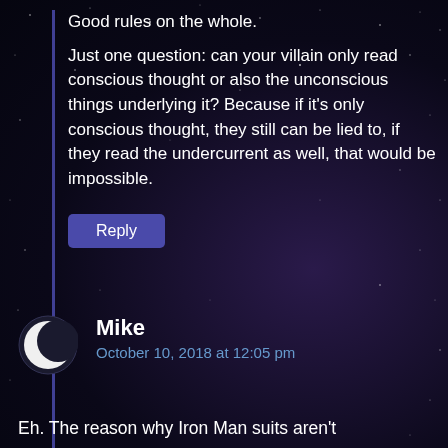Good rules on the whole.
Just one question: can your villain only read conscious thought or also the unconscious things underlying it? Because if it's only conscious thought, they still can be lied to, if they read the undercurrent as well, that would be impossible.
Reply
Mike
October 10, 2018 at 12:05 pm
Eh. The reason why Iron Man suits aren't